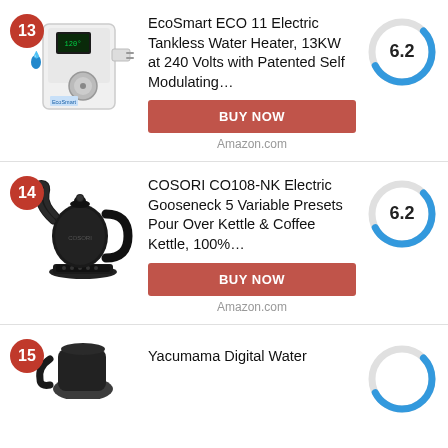13 EcoSmart ECO 11 Electric Tankless Water Heater, 13KW at 240 Volts with Patented Self Modulating… BUY NOW Amazon.com Score: 6.2
14 COSORI CO108-NK Electric Gooseneck 5 Variable Presets Pour Over Kettle & Coffee Kettle, 100%… BUY NOW Amazon.com Score: 6.2
15 Yacumama Digital Water